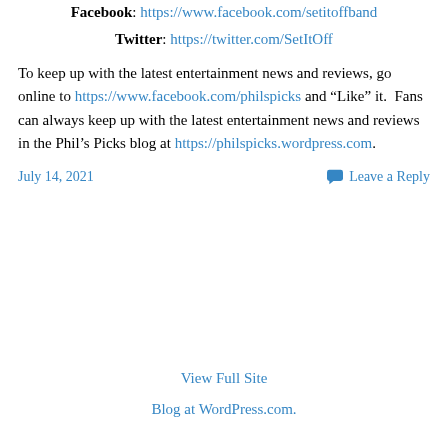Facebook: https://www.facebook.com/setitoffband
Twitter: https://twitter.com/SetItOff
To keep up with the latest entertainment news and reviews, go online to https://www.facebook.com/philspicks and “Like” it.  Fans can always keep up with the latest entertainment news and reviews in the Phil’s Picks blog at https://philspicks.wordpress.com.
July 14, 2021
Leave a Reply
View Full Site
Blog at WordPress.com.